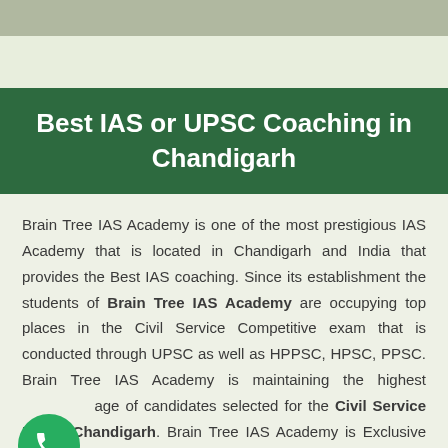Best IAS or UPSC Coaching in Chandigarh
Brain Tree IAS Academy is one of the most prestigious IAS Academy that is located in Chandigarh and India that provides the Best IAS coaching. Since its establishment the students of Brain Tree IAS Academy are occupying top places in the Civil Service Competitive exam that is conducted through UPSC as well as HPPSC, HPSC, PPSC. Brain Tree IAS Academy is maintaining the highest age of candidates selected for the Civil Service Exam at Chandigarh. Brain Tree IAS Academy is Exclusive Institute for UPSC Coaching in Chandigarh. The right